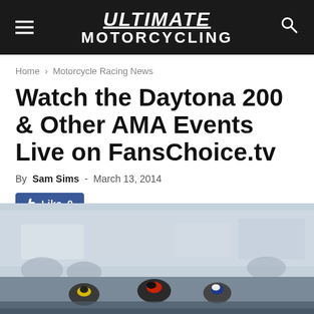Ultimate Motorcycling
Home › Motorcycle Racing News
Watch the Daytona 200 & Other AMA Events Live on FansChoice.tv
By Sam Sims - March 13, 2014
Like 0
[Figure (photo): Motorcycle racers competing on track, crowd and vehicles visible in background]